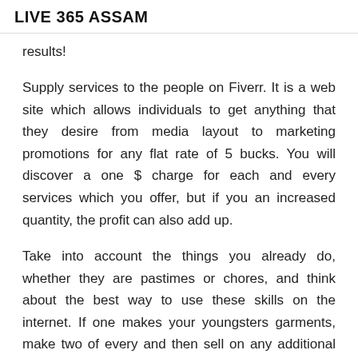LIVE 365 ASSAM
results!
Supply services to the people on Fiverr. It is a web site which allows individuals to get anything that they desire from media layout to marketing promotions for any flat rate of 5 bucks. You will discover a one $ charge for each and every services which you offer, but if you an increased quantity, the profit can also add up.
Take into account the things you already do, whether they are pastimes or chores, and think about the best way to use these skills on the internet. If one makes your youngsters garments, make two of every and then sell on any additional online. Want to make? Offer you your abilities through a internet site and individuals will hire you!